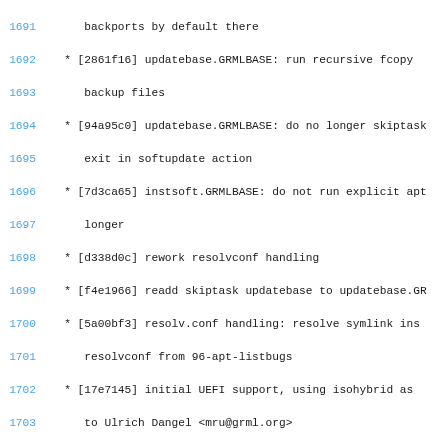Code/changelog listing with line numbers 1691-1717
1691: backports by default there
1692: * [2861f16] updatebase.GRMLBASE: run recursive fcopy
1693: backup files
1694: * [94a95c0] updatebase.GRMLBASE: do no longer skiptask
1695: exit in softupdate action
1696: * [7d3ca65] instsoft.GRMLBASE: do not run explicit apt
1697: longer
1698: * [d338d0c] rework resolvconf handling
1699: * [f4e1966] readd skiptask updatebase to updatebase.GR
1700: * [5a00bf3] resolv.conf handling: resolve symlink ins
1701: resolvconf from 96-apt-listbugs
1702: * [17e7145] initial UEFI support, using isohybrid as
1703: to Ulrich Dangel <mru@grml.org>
1704: * [27a1660] Quote GRML_FAI_CONFIG in warning message
1705: * [5a215cd] 92-update-freshclam: fix wrong file name
1706: * [b4c258f] rework check for xorriso version and be mo
1707: its usage
1708: * [dacf428] Provide DEBIAN_UNSTABLE sources.list conf
1709: * [c5d1013] 98-clean-chroot: also get rid of symlinks
1710: files
1711: * [f3768e9] 01-iceweasel: remove backup file in fcopy
1712: * [b0f14af] Integrate netboot package generation
1713: * [2462be5] Depends: support xorriso as alternative to
1714: (blank)
1715: * Software related changes:
1716: - [e4c899f] drop bind9 from GRML_FULL
1717: - [a45cb79] add imvirt to GRML_{SMALL,MEDIUM,FULL}